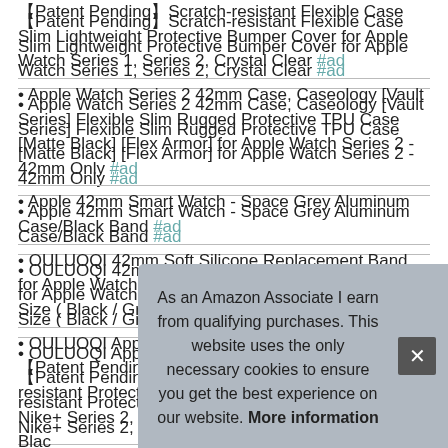【Patent Pending】Scratch-resistant Flexible Case Slim Lightweight Protective Bumper Cover for Apple Watch Series 1, Series 2, Crystal Clear #ad
• Apple Watch Series 2 42mm Case, Caseology [Vault Series] Flexible Slim Rugged Protective TPU Case [Matte Black] [Flex Armor] for Apple Watch Series 2 - 42mm Only #ad
• Apple 42mm Smart Watch - Space Grey Aluminum Case/Black Band #ad
• OULUOQI 42mm Soft Silicone Replacement Band for Apple Watch Series 2, Series 1, Sport, Edition, M/L Size ( Black / Gray ) #ad
• OULUOQI Apple Watch Case 42mm, 2 colors Design 【Patent Pending】, Shock-proof and Shatter-resistant Protective iwatch Case for Apple Watch Nike+ Series 2, Series 1, Sport, Edition- Black / Volt Yellow #ad
As an Amazon Associate I earn from qualifying purchases. This website uses the only necessary cookies to ensure you get the best experience on our website. More information